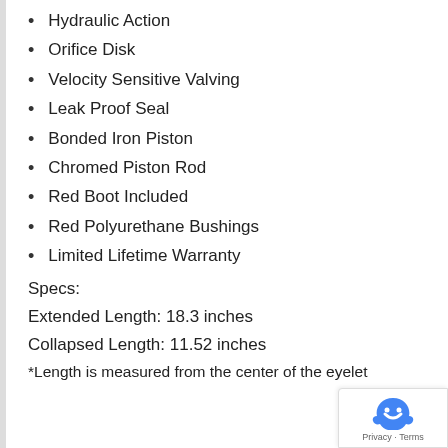Hydraulic Action
Orifice Disk
Velocity Sensitive Valving
Leak Proof Seal
Bonded Iron Piston
Chromed Piston Rod
Red Boot Included
Red Polyurethane Bushings
Limited Lifetime Warranty
Specs:
Extended Length: 18.3 inches
Collapsed Length: 11.52 inches
*Length is measured from the center of the eyelet to the center of the other eyelet*